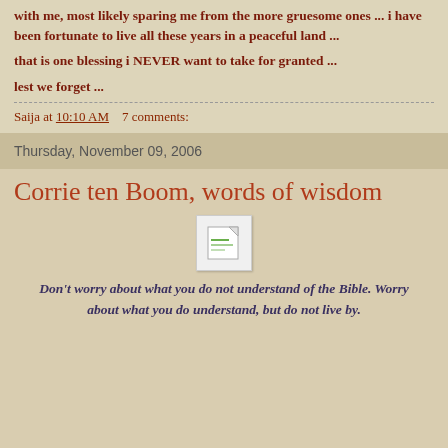with me, most likely sparing me from the more gruesome ones ... i have been fortunate to live all these years in a peaceful land ...
that is one blessing i NEVER want to take for granted ...
lest we forget ...
Saija at 10:10 AM    7 comments:
Thursday, November 09, 2006
Corrie ten Boom, words of wisdom
[Figure (illustration): Small document/image placeholder icon with a torn corner effect]
Don't worry about what you do not understand of the Bible. Worry about what you do understand, but do not live by.